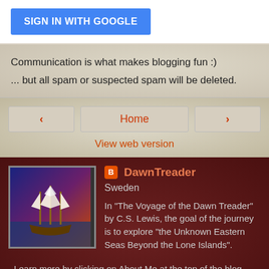[Figure (screenshot): Blue 'SIGN IN WITH GOOGLE' button]
Communication is what makes blogging fun :)
... but all spam or suspected spam will be deleted.
[Figure (screenshot): Navigation bar with left arrow, Home button, right arrow, and View web version link]
[Figure (photo): Profile section showing DawnTreader blog author with ship painting image, Sweden location, bio text about The Voyage of the Dawn Treader by C.S. Lewis]
View my complete profile
Powered by Blogger.